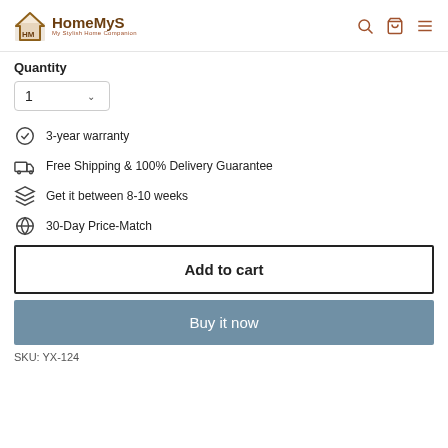HomeMyS — My Stylish Home Companion
Quantity
1
3-year warranty
Free Shipping & 100% Delivery Guarantee
Get it between 8-10 weeks
30-Day Price-Match
Add to cart
Buy it now
SKU: YX-124